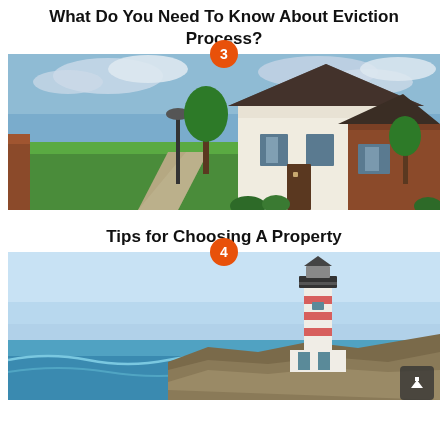What Do You Need To Know About Eviction Process?
[Figure (photo): Suburban house with green lawn, walkway, trees and cloudy sky. Badge with number 3 at top center.]
Tips for Choosing A Property
[Figure (photo): Coastal lighthouse on rocky cliff above ocean waves with clear sky. Badge with number 4 at top center.]